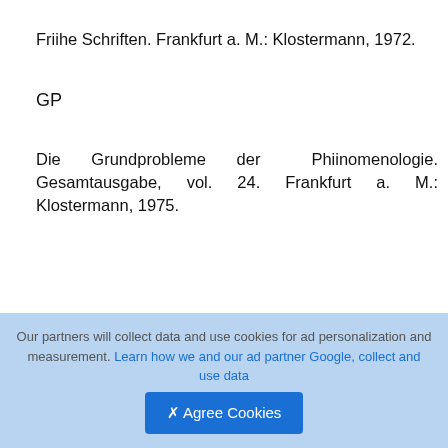Friihe Schriften. Frankfurt a. M.: Klostermann, 1972.
GP
Die Grundprobleme der Phiinomenologie. Gesamtausgabe, vol. 24. Frankfurt a. M.: Klostermann, 1975.
7
8
ABBREVIA nONS